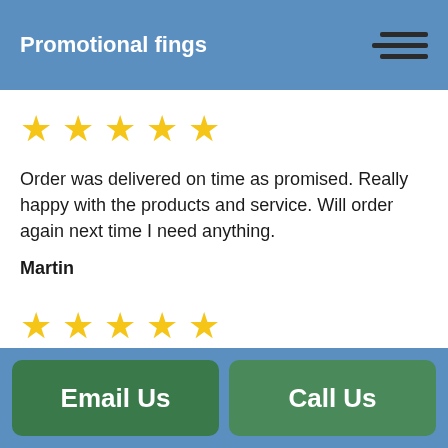Promotional fings
[Figure (illustration): Five gold star rating icons in a row]
Order was delivered on time as promised. Really happy with the products and service. Will order again next time I need anything.
Martin
[Figure (illustration): Five gold star rating icons in a row]
...
Email Us   Call Us